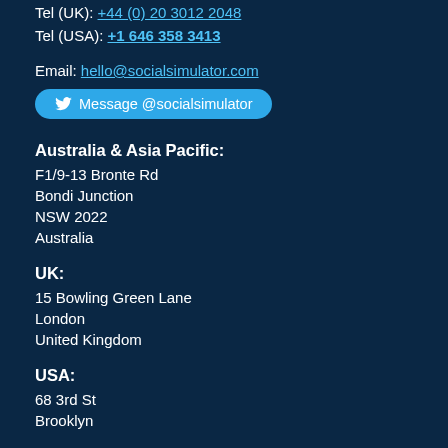Tel (UK): +44 (0) 20 3012 2048
Tel (USA): +1 646 358 3413
Email: hello@socialsimulator.com
Message @socialsimulator
Australia & Asia Pacific:
F1/9-13 Bronte Rd
Bondi Junction
NSW 2022
Australia
UK:
15 Bowling Green Lane
London
United Kingdom
USA:
68 3rd St
Brooklyn